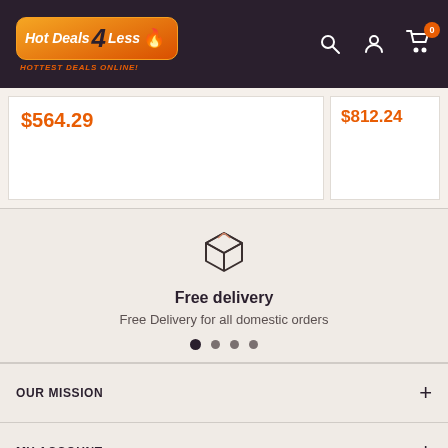[Figure (screenshot): Hot Deals 4 Less website header with logo, search icon, account icon, and cart icon with badge showing 0]
$564.29
$812.24
[Figure (illustration): Package/box delivery icon in dark outline style]
Free delivery
Free Delivery for all domestic orders
OUR MISSION
MY ACCOUNT